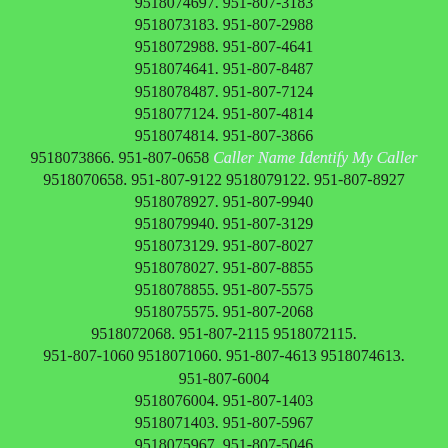9518073215. 951-807-7141 9518077141. 951-807-4697 9518074697. 951-807-3183 9518073183. 951-807-2988 9518072988. 951-807-4641 9518074641. 951-807-8487 9518078487. 951-807-7124 9518077124. 951-807-4814 9518074814. 951-807-3866 9518073866. 951-807-0658 Caller Name Identify My Caller 9518070658. 951-807-9122 9518079122. 951-807-8927 9518078927. 951-807-9940 9518079940. 951-807-3129 9518073129. 951-807-8027 9518078027. 951-807-8855 9518078855. 951-807-5575 9518075575. 951-807-2068 9518072068. 951-807-2115 9518072115. 951-807-1060 9518071060. 951-807-4613 9518074613. 951-807-6004 9518076004. 951-807-1403 9518071403. 951-807-5967 9518075967. 951-807-5046 9518075046. 951-807-5087 9518075087. 951-807-2027